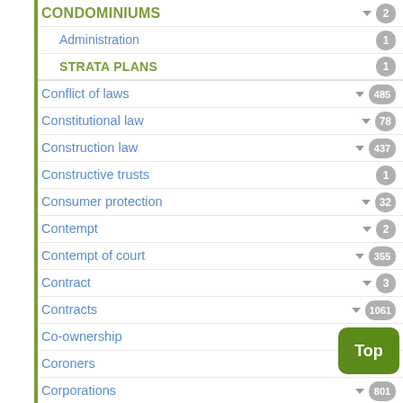CONDOMINIUMS 2
Administration 1
STRATA PLANS 1
Conflict of laws 485
Constitutional law 78
Construction law 437
Constructive trusts 1
Consumer protection 32
Contempt 2
Contempt of court 355
Contract 3
Contracts 1061
Co-ownership 2
Coroners 8
Corporations 801
Costs 3842
Courts
Creditors' remedies
Creditors' remedies 10